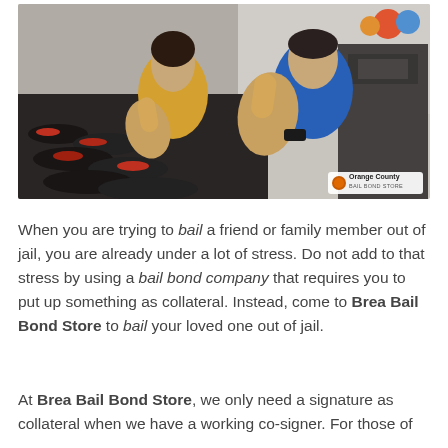[Figure (photo): Two smiling people (a woman in yellow and a man in blue) giving thumbs up in a gym with dumbbells in the background. Orange County Bail Bond Store logo in bottom right corner.]
When you are trying to bail a friend or family member out of jail, you are already under a lot of stress. Do not add to that stress by using a bail bond company that requires you to put up something as collateral. Instead, come to Brea Bail Bond Store to bail your loved one out of jail.
At Brea Bail Bond Store, we only need a signature as collateral when we have a working co-signer. For those of